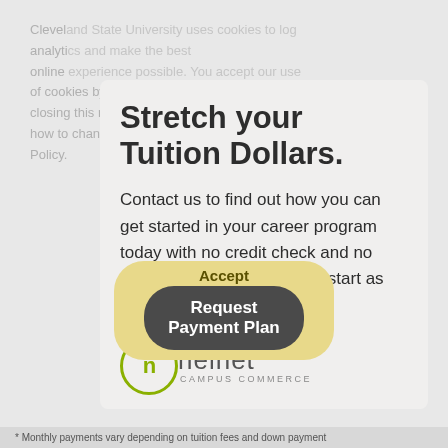Cleveland State University uses cookies to log analytics and make the best online experience possible. You accept our use of cookies by continuing to browse our site or closing this message. To learn more, including how to change your settings, see our Privacy Policy.
Stretch your Tuition Dollars.
Contact us to find out how you can get started in your career program today with no credit check and no interest. Monthly payments start as low as $75/month.*
[Figure (logo): Nelnet Campus Commerce logo — circular 'n' icon with olive/green border beside the wordmark 'nelnet' and subtitle 'CAMPUS COMMERCE']
Accept
Request Payment Plan
* Monthly payments vary depending on tuition fees and down payment